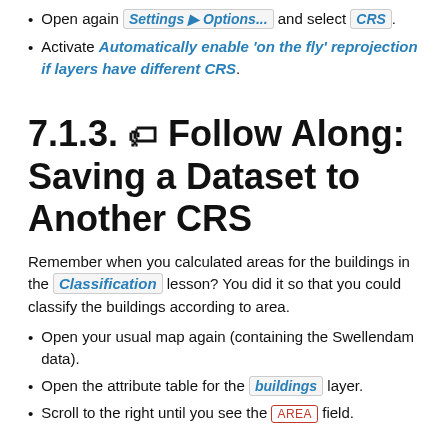Open again Settings ▶ Options... and select CRS.
Activate Automatically enable 'on the fly' reprojection if layers have different CRS.
7.1.3. 🏷 Follow Along: Saving a Dataset to Another CRS
Remember when you calculated areas for the buildings in the Classification lesson? You did it so that you could classify the buildings according to area.
Open your usual map again (containing the Swellendam data).
Open the attribute table for the buildings layer.
Scroll to the right until you see the AREA field.